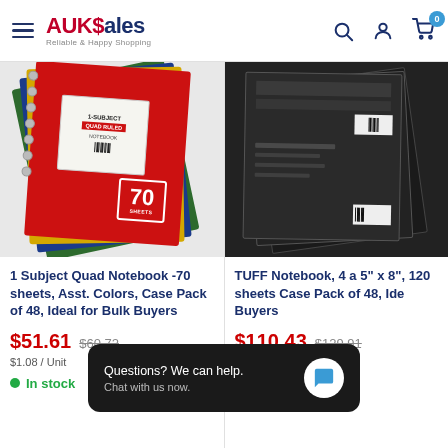AUKSales - Reliable & Happy Shopping
[Figure (photo): Stack of spiral-bound quad ruled notebooks in assorted colors (green, blue, yellow, red) with a label showing '70 sheets']
1 Subject Quad Notebook -70 sheets, Asst. Colors, Case Pack of 48, Ideal for Bulk Buyers
$51.61  $60.72
$1.08 / Unit
In stock
[Figure (photo): Stack of black TUFF Notebooks, 4 subject, 5" x 8", 120 sheets]
TUFF Notebook, 4 a 5" x 8", 120 sheets Case Pack of 48, Ideal for Bulk Buyers
$110.43  $129.91
$2.30 / Unit
In stock
Questions? We can help. Chat with us now.